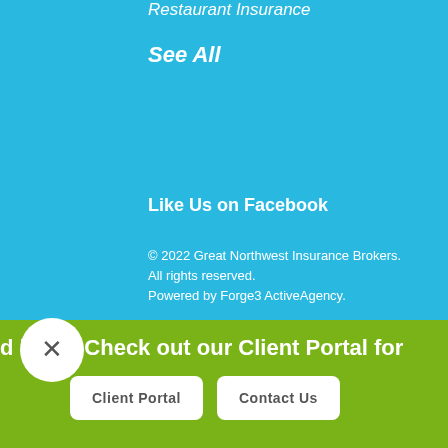Restaurant Insurance
See All
Like Us on Facebook
© 2022 Great Northwest Insurance Brokers. All rights reserved.
Powered by Forge3 ActiveAgency.
d help? Check out our Client Portal for
Client Portal
Contact Us